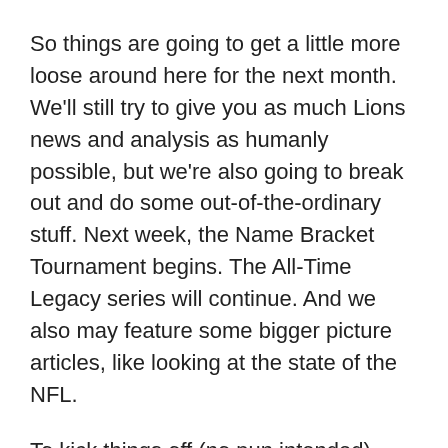So things are going to get a little more loose around here for the next month. We'll still try to give you as much Lions news and analysis as humanly possible, but we're also going to break out and do some out-of-the-ordinary stuff. Next week, the Name Bracket Tournament begins. The All-Time Legacy series will continue. And we also may feature some bigger picture articles, like looking at the state of the NFL.
To kick things off (no pun intended), we're going to take a step away from football today, and talk about one of the biggest sporting events on Earth. The World Cup starts Thursday, and while the United States will not be participating, there will still be millions of people watching within our borders.
So today's Question of the Day is...